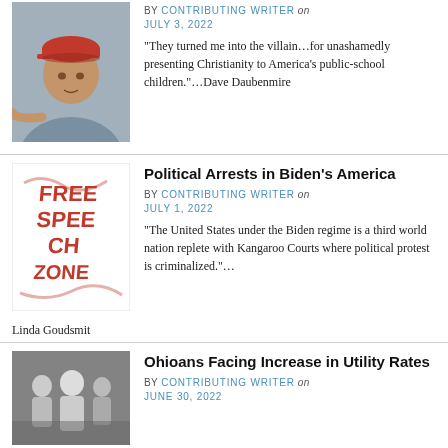[Figure (photo): Man in red baseball cap and blue shirt pointing at camera]
BY CONTRIBUTING WRITER on JULY 3, 2022
“They turned me into the villain…for unashamedly presenting Christianity to America’s public-school children.”…Dave Daubenmire
Political Arrests in Biden’s America
[Figure (illustration): Free Speech Zone logo in red with text on white background]
BY CONTRIBUTING WRITER on JULY 1, 2022
“The United States under the Biden regime is a third world nation replete with Kangaroo Courts where political protest is criminalized.”…
Linda Goudsmit
Ohioans Facing Increase in Utility Rates
[Figure (photo): Black and white photo of people at what appears to be a utility or community setting]
BY CONTRIBUTING WRITER on JUNE 30, 2022